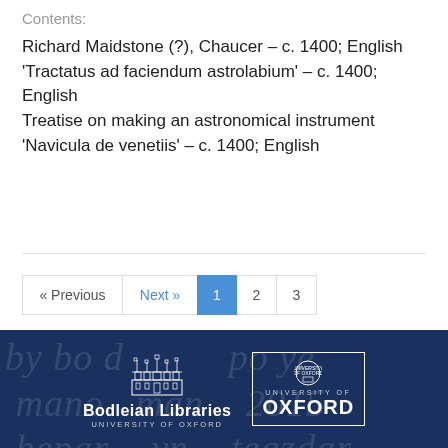Contents:
Richard Maidstone (?), Chaucer – c. 1400; English 'Tractatus ad faciendum astrolabium' – c. 1400; English Treatise on making an astronomical instrument 'Navicula de venetiis' – c. 1400; English
[Figure (other): Pagination navigation bar with « Previous, Next », and page numbers 1 (active/highlighted in blue), 2, 3]
[Figure (logo): Footer with dark navy background featuring Bodleian Libraries University of Oxford logo and University of Oxford shield logo, with medieval manuscript watermark text in background]